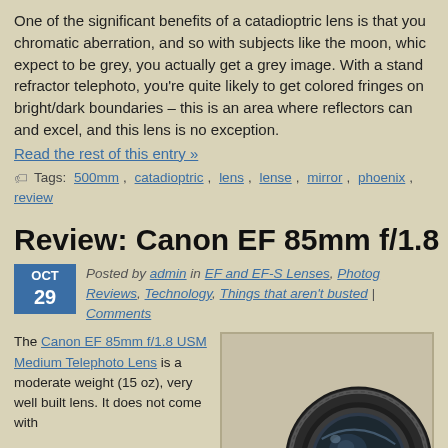One of the significant benefits of a catadioptric lens is that you get no chromatic aberration, and so with subjects like the moon, which you'd expect to be grey, you actually get a grey image. With a standard refractor telephoto, you're quite likely to get colored fringes on bright/dark boundaries – this is an area where reflectors can and do excel, and this lens is no exception.
Read the rest of this entry »
Tags: 500mm, catadioptric, lens, lense, mirror, phoenix, review
Review: Canon EF 85mm f/1.8 USM
Posted by admin in EF and EF-S Lenses, Photography Reviews, Technology, Things that aren't busted | Comments
The Canon EF 85mm f/1.8 USM Medium Telephoto Lens is a moderate weight (15 oz), very well built lens. It does not come with
[Figure (photo): Photo of a Canon EF 85mm f/1.8 USM lens, showing the front element and barrel of the lens up close against a light background.]